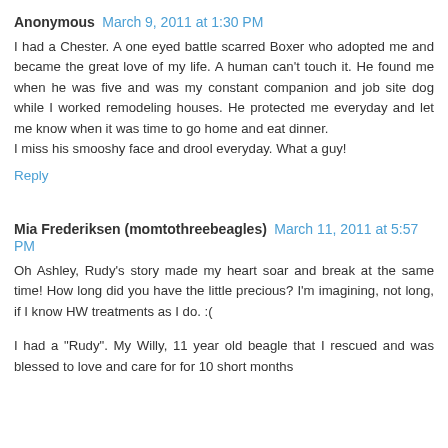Anonymous March 9, 2011 at 1:30 PM
I had a Chester. A one eyed battle scarred Boxer who adopted me and became the great love of my life. A human can't touch it. He found me when he was five and was my constant companion and job site dog while I worked remodeling houses. He protected me everyday and let me know when it was time to go home and eat dinner.
I miss his smooshy face and drool everyday. What a guy!
Reply
Mia Frederiksen (momtothreebeagles) March 11, 2011 at 5:57 PM
Oh Ashley, Rudy's story made my heart soar and break at the same time! How long did you have the little precious? I'm imagining, not long, if I know HW treatments as I do. :(
I had a "Rudy". My Willy, 11 year old beagle that I rescued and was blessed to love and care for for 10 short months and...